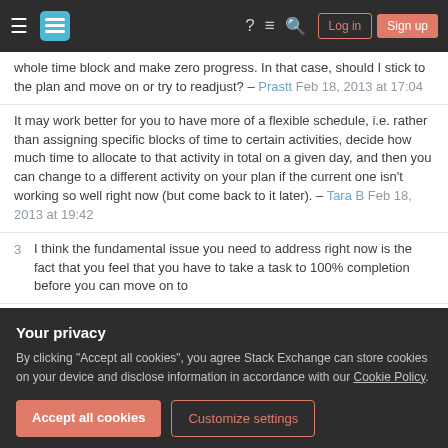Stack Exchange header bar with navigation
whole time block and make zero progress. In that case, should I stick to the plan and move on or try to readjust? – Prastt Feb 18, 2013 at 17:04
It may work better for you to have more of a flexible schedule, i.e. rather than assigning specific blocks of time to certain activities, decide how much time to allocate to that activity in total on a given day, and then you can change to a different activity on your plan if the current one isn't working so well right now (but come back to it later). – Tara B Feb 18, 2013 at 19:42
3 I think the fundamental issue you need to address right now is the fact that you feel that you have to take a task to 100% completion before you can move on to
Your privacy
By clicking "Accept all cookies", you agree Stack Exchange can store cookies on your device and disclose information in accordance with our Cookie Policy.
Accept all cookies
Customize settings
on—at least at first. Later on, you can adjust more as